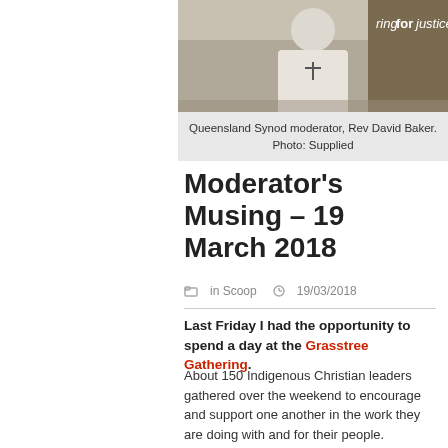[Figure (photo): Photo of Queensland Synod moderator Rev David Baker wearing a cross necklace, standing in front of a banner reading 'ringforjustice']
Queensland Synod moderator, Rev David Baker. Photo: Supplied
Moderator's Musing – 19 March 2018
in Scoop   19/03/2018
Last Friday I had the opportunity to spend a day at the Grasstree Gathering.
About 150 Indigenous Christian leaders gathered over the weekend to encourage and support one another in the work they are doing with and for their people.
It was an inspiring event.
Artists like Safina Stewart spoke of their journey and what they are seeking to say through their